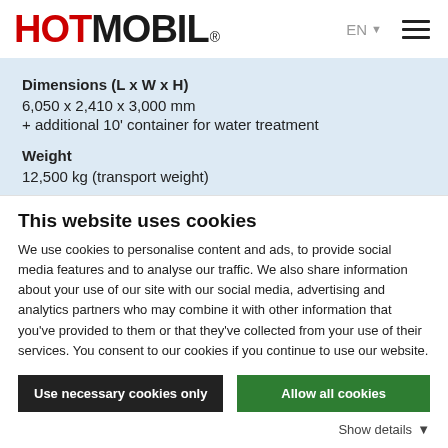[Figure (logo): HOTMOBIL logo — HOT in red, MOBIL in black, bold sans-serif, with registered trademark symbol]
Dimensions (L x W x H)
6,050 x 2,410 x 3,000 mm
+ additional 10' container for water treatment

Weight
12,500 kg (transport weight)
This website uses cookies
We use cookies to personalise content and ads, to provide social media features and to analyse our traffic. We also share information about your use of our site with our social media, advertising and analytics partners who may combine it with other information that you've provided to them or that they've collected from your use of their services. You consent to our cookies if you continue to use our website.
Use necessary cookies only
Allow all cookies
Show details